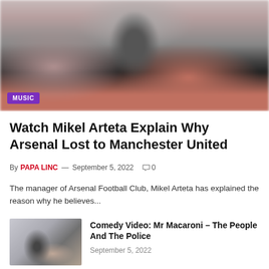[Figure (photo): Blurred photo of a person in dark clothing, possibly covering their face, with a reddish/blurred background. A purple 'MUSIC' tag badge is overlaid at the bottom left.]
Watch Mikel Arteta Explain Why Arsenal Lost to Manchester United
By PAPA LINC — September 5, 2022   0
The manager of Arsenal Football Club, Mikel Arteta has explained the reason why he believes...
[Figure (photo): Small thumbnail image, blurred/muted, showing a person standing indoors.]
Comedy Video: Mr Macaroni – The People And The Police
September 5, 2022